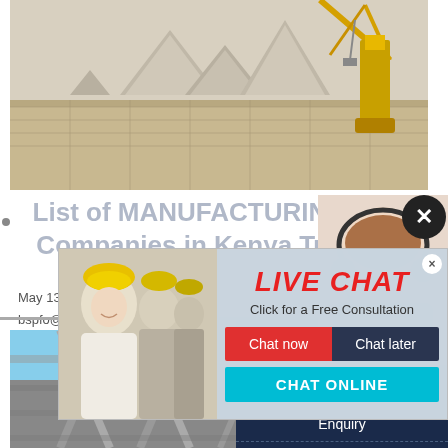[Figure (photo): Construction site with industrial equipment, conical sand/gravel mounds, a yellow crane, rendered in a 3D illustration style]
List of MANUFACTURING Companies in Kenya Tuk
May 13, 20...
bspfo@ba...
Athi River
[Figure (screenshot): Live chat popup overlay with workers in hard hats, customer service agent with headset, LIVE CHAT in red bold text, 'Click for a Free Consultation', Chat now button (red), Chat later button (dark blue), CHAT ONLINE button (teal)]
[Figure (photo): Construction scaffolding or steel structure against a blue sky]
ave any requests, click here.
Quotation
Enquiry
limingjlmofen@sina.com